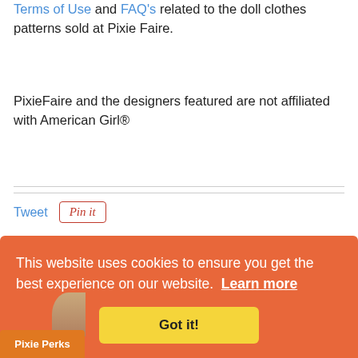Terms of Use and FAQ's related to the doll clothes patterns sold at Pixie Faire.
PixieFaire and the designers featured are not affiliated with American Girl®
Tweet
[Figure (other): Pin it button]
You Might Also Like...
[Figure (logo): Dan El Designs logo thumbnail with cursive text and small flower, partially overlaid with a person's photo]
[Figure (logo): Jelly Bean Soup logo thumbnail with colorful text]
This website uses cookies to ensure you get the best experience on our website. Learn more
Got it!
Pixie Perks